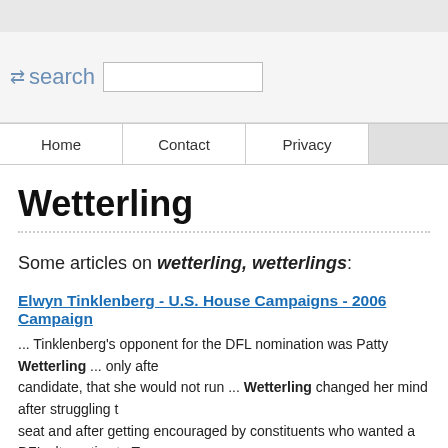search
Home | Contact | Privacy
Wetterling
Some articles on wetterling, wetterlings:
Elwyn Tinklenberg - U.S. House Campaigns - 2006 Campaign
... Tinklenberg's opponent for the DFL nomination was Patty Wetterling ... only after candidate, that she would not run ... Wetterling changed her mind after struggling to seat and after getting encouraged by constituents who wanted a DFL alternative to T